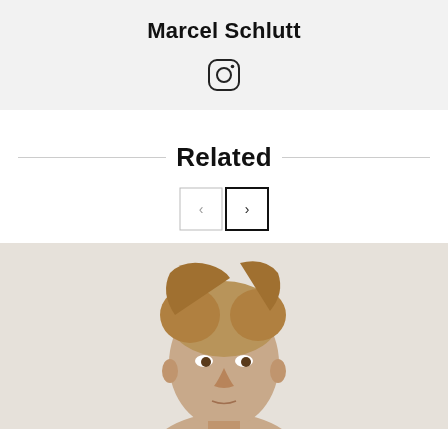Marcel Schlutt
[Figure (logo): Instagram icon (rounded square with camera outline)]
Related
[Figure (other): Navigation buttons: left arrow (inactive) and right arrow (active/selected)]
[Figure (photo): Photo of a young man with blonde swept-back hair against a light beige/cream background, cropped to show head and upper shoulders]